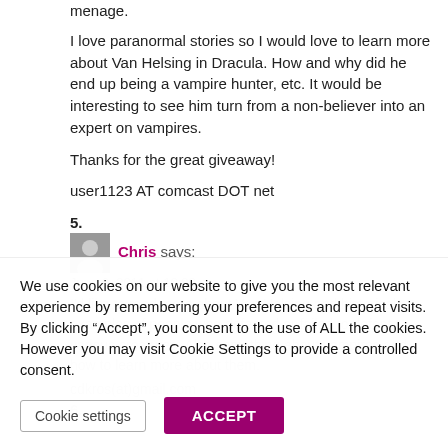menage.
I love paranormal stories so I would love to learn more about Van Helsing in Dracula. How and why did he end up being a vampire hunter, etc. It would be interesting to see him turn from a non-believer into an expert on vampires.
Thanks for the great giveaway!
user1123 AT comcast DOT net
5.
Chris says:
June 6, 2011 at 10:00 pm
I'd like to read more about Van Helsing and historical examples of people who defeated or failed to defeat various creatures. Also something about vampires and how to learn more about them.
cdkros(at)gmail.com
6.
We use cookies on our website to give you the most relevant experience by remembering your preferences and repeat visits. By clicking “Accept”, you consent to the use of ALL the cookies. However you may visit Cookie Settings to provide a controlled consent.